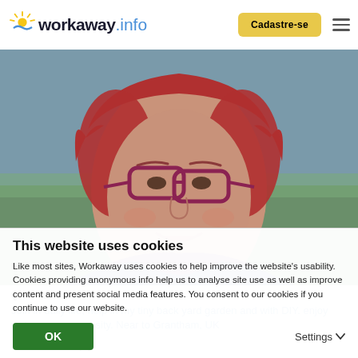workaway.info | Cadastre-se
[Figure (photo): Close-up photo of a woman with red hair and purple/red glasses, wearing a denim jacket and purple scarf, outdoors with green field background]
Reino Unido
Join in daily life, help in my tiny back yard garden and with DIY. enjoy welcoming generosity. Near to Grantham, UK
★★★★★ (1)
This website uses cookies
Like most sites, Workaway uses cookies to help improve the website's usability. Cookies providing anonymous info help us to analyse site use as well as improve content and present social media features.  You consent to our cookies if you continue to use our website.
OK | Settings